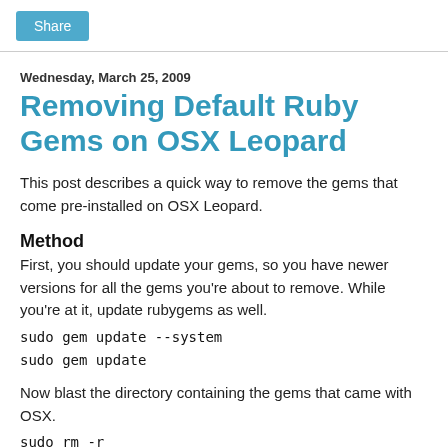Share
Wednesday, March 25, 2009
Removing Default Ruby Gems on OSX Leopard
This post describes a quick way to remove the gems that come pre-installed on OSX Leopard.
Method
First, you should update your gems, so you have newer versions for all the gems you're about to remove. While you're at it, update rubygems as well.
sudo gem update --system
sudo gem update
Now blast the directory containing the gems that came with OSX.
sudo rm -r
/System/Library/Frameworks/Ruby.framework/Ver